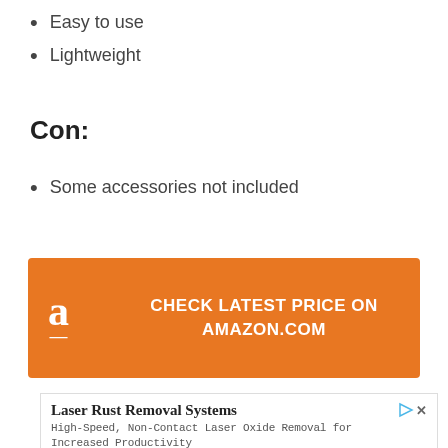Easy to use
Lightweight
Con:
Some accessories not included
[Figure (other): Orange Amazon banner with Amazon logo and text CHECK LATEST PRICE ON AMAZON.COM]
[Figure (other): Advertisement box for Laser Rust Removal Systems by lasersystems.ipgphotonics.com with a Learn More button]